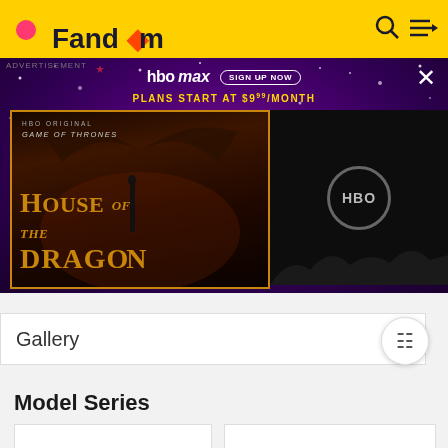Fandom
[Figure (screenshot): HBO Max advertisement banner with purple starry background. Shows 'HBO max SIGN UP NOW' header with 'PLANS START AT $9.99/MONTH'. Left panel shows House of the Dragon promotional image with dark dragon imagery and golden text. Right panel shows HBO logo circle on dark background.]
ADVERTISEMENT
Gallery
Model Series
[Figure (other): Empty white card placeholder]
[Figure (other): Empty white card placeholder]